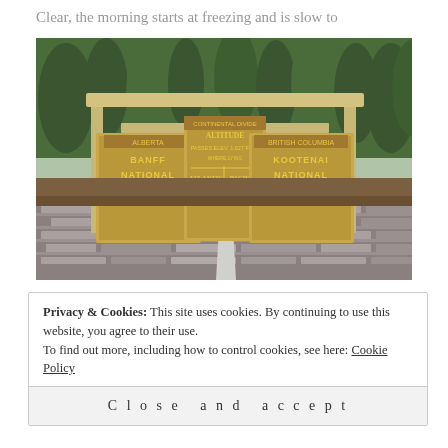Clear, the morning starts at freezing and is slow to
[Figure (photo): A wooden national park sign structure at what appears to be a border between Banff National Park and Kootenai National Park, with a Continental Divide altitude marker in the center. The signs are mounted on a wooden frame with a stone wall base and surrounded by pine trees.]
Privacy & Cookies: This site uses cookies. By continuing to use this website, you agree to their use.
To find out more, including how to control cookies, see here: Cookie Policy
Close and accept